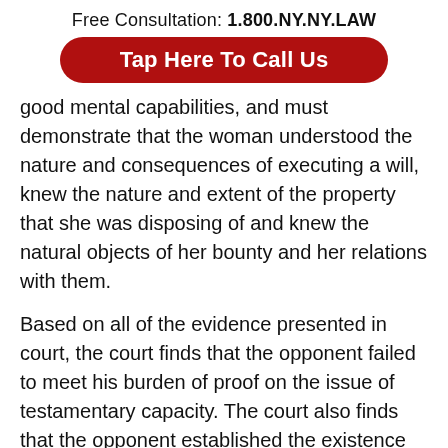Free Consultation: 1.800.NY.NY.LAW
Tap Here To Call Us
good mental capabilities, and must demonstrate that the woman understood the nature and consequences of executing a will, knew the nature and extent of the property that she was disposing of and knew the natural objects of her bounty and her relations with them.
Based on all of the evidence presented in court, the court finds that the opponent failed to meet his burden of proof on the issue of testamentary capacity. The court also finds that the opponent established the existence of a confidential relationship between the woman and her first son and that the confidential relationship, coupled with the facts and circumstances surrounding the